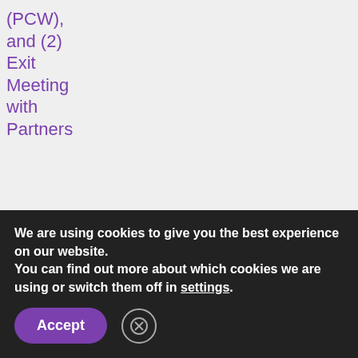| Activity | Date | Procurement Mode |
| --- | --- | --- |
| (PCW), and (2) Exit Meeting with Partners |  |  |
| Hiring of Service Provider for the Printing of GAD | 21/03/20 | Negotiated Procure |
We are using cookies to give you the best experience on our website.
You can find out more about which cookies we are using or switch them off in settings.